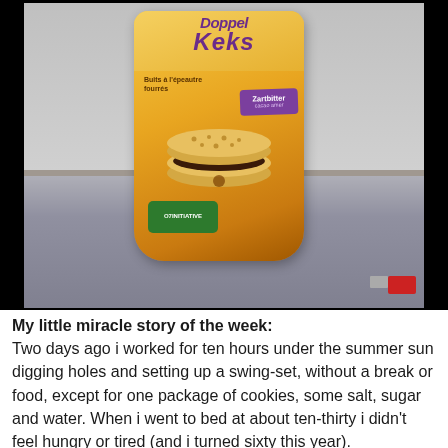[Figure (photo): Photo of a package of Doppel Keks cookies (spelt cookies with dark chocolate filling, Zartbitter flavor) sitting on a white shelf. The packaging is yellow/orange. A red item is visible on the right side of the shelf.]
My little miracle story of the week: Two days ago i worked for ten hours under the summer sun digging holes and setting up a swing-set, without a break or food, except for one package of cookies, some salt, sugar and water. When i went to bed at about ten-thirty i didn't feel hungry or tired (and i turned sixty this year).